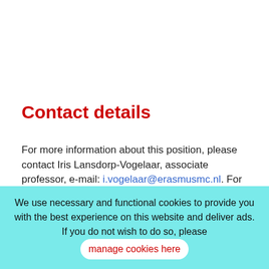Contact details
For more information about this position, please contact Iris Lansdorp-Vogelaar, associate professor, e-mail: i.vogelaar@erasmusmc.nl. For queries
We use necessary and functional cookies to provide you with the best experience on this website and deliver ads. If you do not wish to do so, please manage cookies here